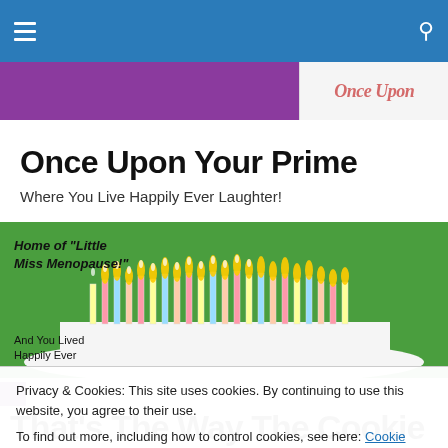Navigation bar with hamburger menu and search icon
[Figure (screenshot): Purple banner strip on left and 'Once Upon' logo text on right white section]
Once Upon Your Prime
Where You Live Happily Ever Laughter!
[Figure (photo): Birthday cake covered with many lit colorful candles on green background, with text overlay: Home of "Little Miss Menopause!" and And You Lived Happily Ever]
Privacy & Cookies: This site uses cookies. By continuing to use this website, you agree to their use.
To find out more, including how to control cookies, see here: Cookie Policy
That's The Way The Cookie